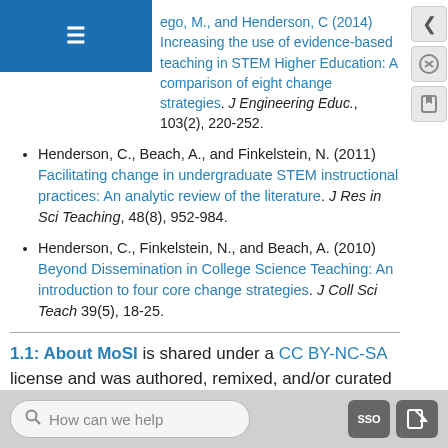≡
ego, M., and Henderson, C (2014) Increasing the use of evidence-based teaching in STEM Higher Education: A comparison of eight change strategies. J Engineering Educ., 103(2), 220-252.
Henderson, C., Beach, A., and Finkelstein, N. (2011) Facilitating change in undergraduate STEM instructional practices: An analytic review of the literature. J Res in Sci Teaching, 48(8), 952-984.
Henderson, C., Finkelstein, N., and Beach, A. (2010) Beyond Dissemination in College Science Teaching: An introduction to four core change strategies. J Coll Sci Teach 39(5), 18-25.
1.1: About MoSI is shared under a CC BY-NC-SA license and was authored, remixed, and/or curated by LibreTexts.
How can we help